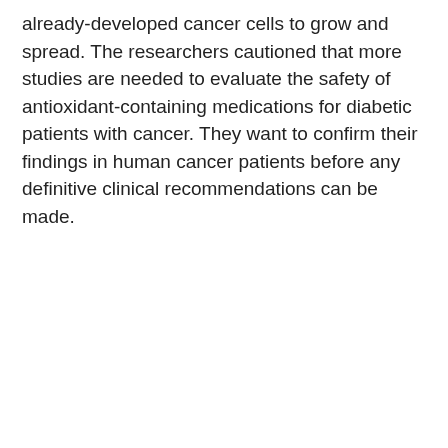already-developed cancer cells to grow and spread. The researchers cautioned that more studies are needed to evaluate the safety of antioxidant-containing medications for diabetic patients with cancer. They want to confirm their findings in human cancer patients before any definitive clinical recommendations can be made.